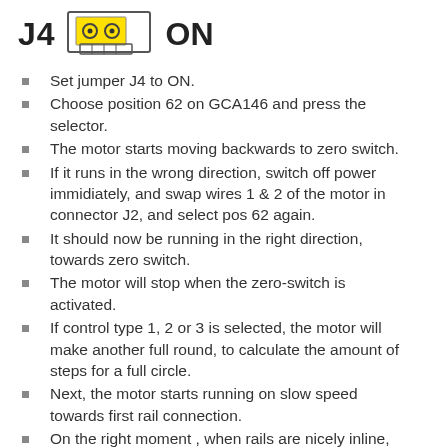[Figure (schematic): J4 jumper set to ON position, showing a jumper connector diagram with yellow highlighted pins and a rectangular connector symbol]
Set jumper J4 to ON.
Choose position 62 on GCA146 and press the selector.
The motor starts moving backwards to zero switch.
If it runs in the wrong direction, switch off power immidiately, and swap wires 1 & 2 of the motor in connector J2, and select pos 62 again.
It should now be running in the right direction, towards zero switch.
The motor will stop when the zero-switch is activated.
If control type 1, 2 or 3 is selected, the motor will make another full round, to calculate the amount of steps for a full circle.
Next, the motor starts running on slow speed towards first rail connection.
On the right moment , when rails are nicely inline, press selector.